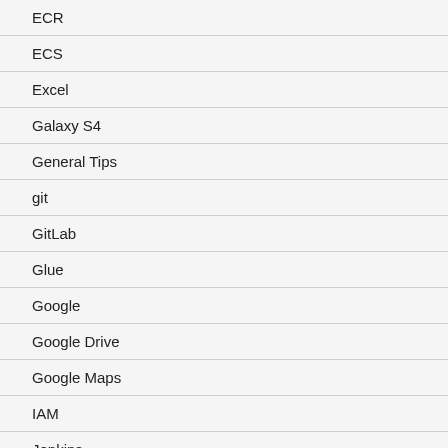ECR
ECS
Excel
Galaxy S4
General Tips
git
GitLab
Glue
Google
Google Drive
Google Maps
IAM
Jenkins
JFrog
Joomla